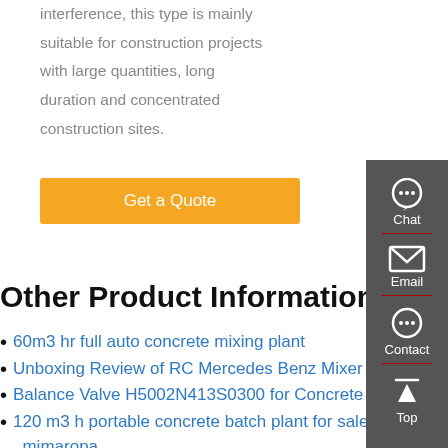interference, this type is mainly suitable for construction projects with large quantities, long duration and concentrated construction sites.
Get a Quote
Other Product Information
60m3 hr full auto concrete mixing plant
Unboxing Review of RC Mercedes Benz Mixer Truck
Balance Valve H5002N413S0300 for Concrete Pump
120 m3 h portable concrete batch plant for sale in mimaropa
concrete pump trucks Pump truck customization
hot sale batching plant automatic cement mixing plant
[Figure (other): Sidebar with Chat, Email, Contact, Top navigation icons on dark grey background]